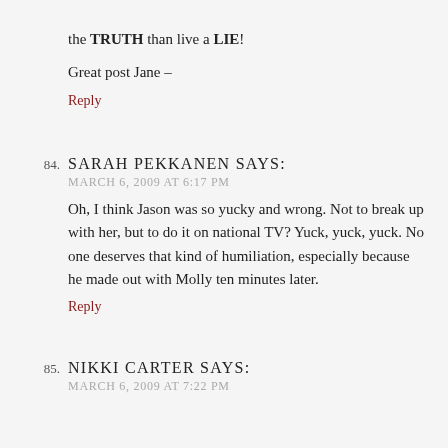the TRUTH than live a LIE!
Great post Jane –
Reply
84. SARAH PEKKANEN SAYS:
MARCH 6, 2009 AT 6:17 PM
Oh, I think Jason was so yucky and wrong. Not to break up with her, but to do it on national TV? Yuck, yuck, yuck. No one deserves that kind of humiliation, especially because he made out with Molly ten minutes later.
Reply
85. NIKKI CARTER SAYS:
MARCH 6, 2009 AT 7:22 PM